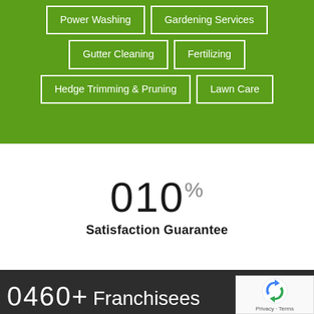Power Washing
Gardening Services
Gutter Cleaning
Fertilizing
Hedge Trimming & Pruning
Lawn Care
010%
Satisfaction Guarantee
0460+ Franchisees